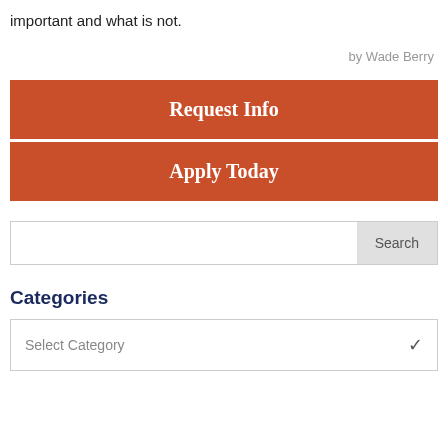important and what is not.
by Wade Berry
[Figure (other): Two call-to-action buttons: 'Request Info' and 'Apply Today', both with red-orange background and white bold serif text.]
[Figure (other): Search bar with text input field and a Search button on the right.]
Categories
[Figure (other): Dropdown select box with placeholder text 'Select Category' and a checkmark/arrow indicator on the right.]